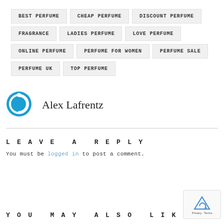BEST PERFUME
CHEAP PERFUME
DISCOUNT PERFUME
FRAGRANCE
LADIES PERFUME
LOVE PERFUME
ONLINE PERFUME
PERFUME FOR WOMEN
PERFUME SALE
PERFUME UK
TOP PERFUME
Alex Lafrentz
LEAVE A REPLY
You must be logged in to post a comment.
YOU MAY ALSO LIKE